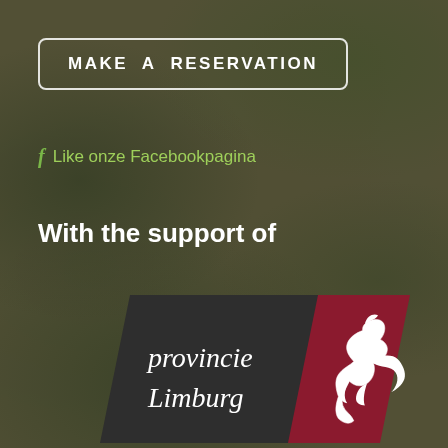MAKE A RESERVATION
f Like onze Facebookpagina
With the support of
[Figure (logo): Provincie Limburg logo: dark charcoal parallelogram with white text 'provincie Limburg' on the left, and a dark red/maroon parallelogram with a white stylized lion figure on the right.]